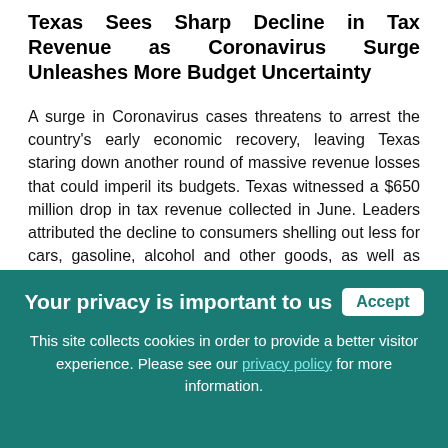Texas Sees Sharp Decline in Tax Revenue as Coronavirus Surge Unleashes More Budget Uncertainty
A surge in Coronavirus cases threatens to arrest the country's early economic recovery, leaving Texas staring down another round of massive revenue losses that could imperil its budgets. Texas witnessed a $650 million drop in tax revenue collected in June. Leaders attributed the decline to consumers shelling out less for cars, gasoline, alcohol and other goods, as well as precipitous drops in travel and tourism, compared with the same period a year earlier. Read
Your privacy is important to us  Accept
This site collects cookies in order to provide a better visitor experience. Please see our privacy policy for more information.